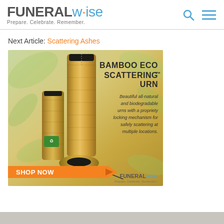FUNERALwise — Prepare. Celebrate. Remember.
Next Article: Scattering Ashes
[Figure (photo): Advertisement for Bamboo Eco Scattering Urn by FuneralWise. Shows bamboo cylindrical urns with green tag against leaf background. Text: BAMBOO ECO SCATTERING™ URN — Beautiful all-natural and biodegradable urns with a propriety locking mechanism for safely scattering at multiple locations. SHOP NOW button. FUNERALwise Prepare. Celebrate. Remember.]